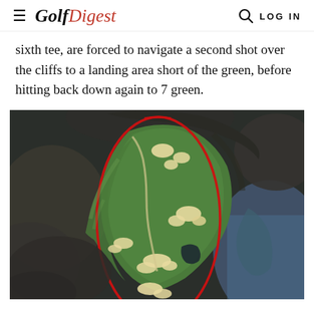Golf Digest — LOG IN
sixth tee, are forced to navigate a second shot over the cliffs to a landing area short of the green, before hitting back down again to 7 green.
[Figure (photo): Aerial overhead view of a coastal golf course (likely Pebble Beach) with a red oval outline highlighting holes 6 and 7. The image shows green fairways, white sand bunkers, dark rocky cliffs, and ocean water surrounding a peninsula.]